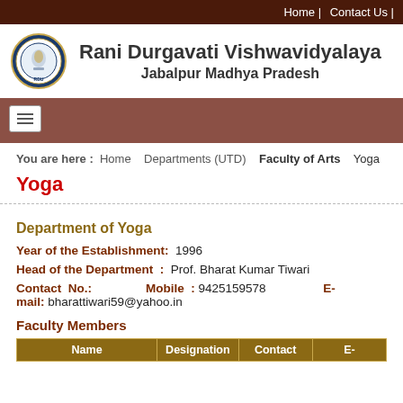Home | Contact Us |
Rani Durgavati Vishwavidyalaya
Jabalpur Madhya Pradesh
You are here : Home  Departments (UTD)  Faculty of Arts  Yoga
Yoga
Department of Yoga
Year of the Establishment: 1996
Head of the Department : Prof. Bharat Kumar Tiwari
Contact No.:   Mobile : 9425159578   E-mail: bharattiwari59@yahoo.in
Faculty Members
| Name | Designation | Contact | E- |
| --- | --- | --- | --- |